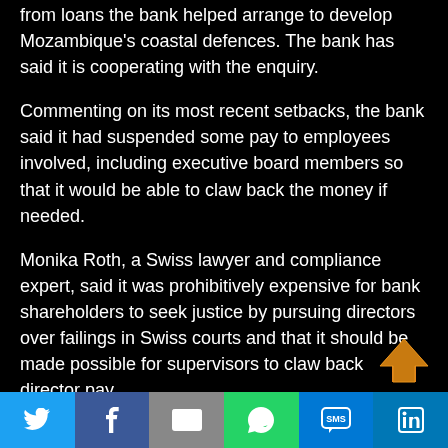from loans the bank helped arrange to develop Mozambique's coastal defences. The bank has said it is cooperating with the enquiry.
Commenting on its most recent setbacks, the bank said it had suspended some pay to employees involved, including executive board members so that it would be able to claw back the money if needed.
Monika Roth, a Swiss lawyer and compliance expert, said it was prohibitively expensive for bank shareholders to seek justice by pursuing directors over failings in Swiss courts and that it should be made possible for supervisors to claw back director pay.
Any reform, however, is likely to meet resistance. The Swiss
[Figure (other): Orange house/up-arrow icon in bottom-right area of article]
Social share bar with Twitter, Facebook, Email, WhatsApp, SMS, LinkedIn buttons